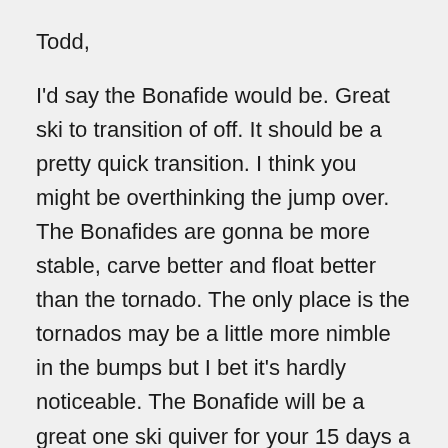Todd,
I'd say the Bonafide would be. Great ski to transition of off. It should be a pretty quick transition. I think you might be overthinking the jump over. The Bonafides are gonna be more stable, carve better and float better than the tornado. The only place is the tornados may be a little more nimble in the bumps but I bet it's hardly noticeable. The Bonafide will be a great one ski quiver for your 15 days a year. I'd say for length it's gonna depend on what size turns you make. I'm kinda feeling the 173 based on some of your comments but if you like to make slightly longer turns the